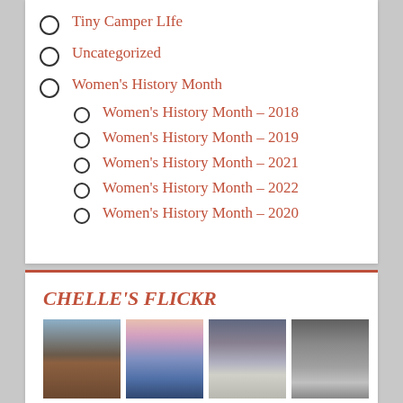Tiny Camper LIfe
Uncategorized
Women's History Month
Women's History Month – 2018
Women's History Month – 2019
Women's History Month – 2021
Women's History Month – 2022
Women's History Month – 2020
CHELLE'S FLICKR
[Figure (photo): Four photographs arranged in a row: a desert/mountain landscape at dusk, blue mountain ridges at twilight, people near a fountain in an urban plaza, and black-and-white abstract sand dunes.]